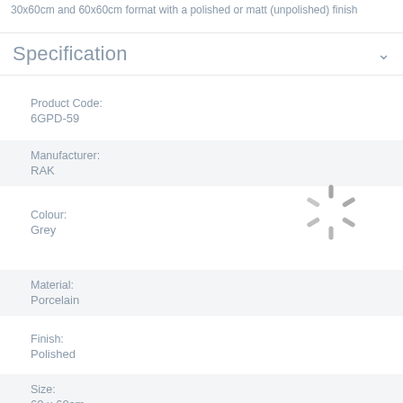30x60cm and 60x60cm format with a polished or matt (unpolished) finish
Specification
Product Code:
6GPD-59
Manufacturer:
RAK
Colour:
Grey
Material:
Porcelain
Finish:
Polished
Size:
60 x 60cm
Thickness: